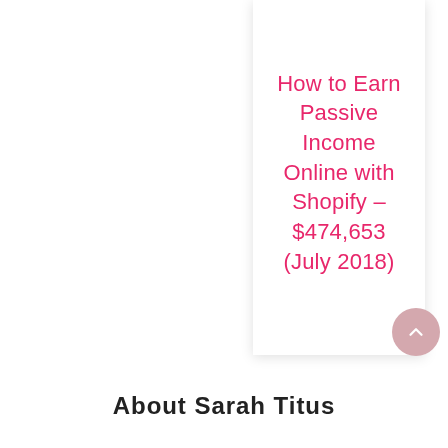[Figure (other): White card with shadow containing pink title text 'How to Earn Passive Income Online with Shopify - $474,653 (July 2018)']
How to Earn Passive Income Online with Shopify - $474,653 (July 2018)
About Sarah Titus